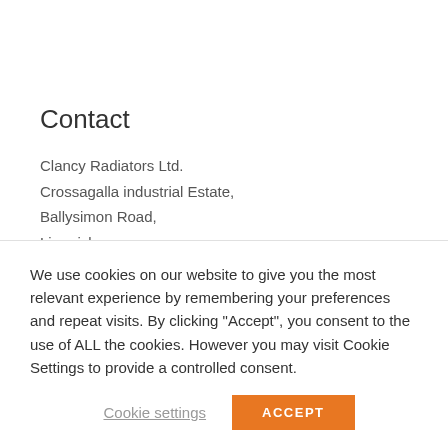Contact
Clancy Radiators Ltd.
Crossagalla industrial Estate,
Ballysimon Road,
Limerick,
Ireland.
— — — — — — — —
We use cookies on our website to give you the most relevant experience by remembering your preferences and repeat visits. By clicking “Accept”, you consent to the use of ALL the cookies. However you may visit Cookie Settings to provide a controlled consent.
Cookie settings    ACCEPT